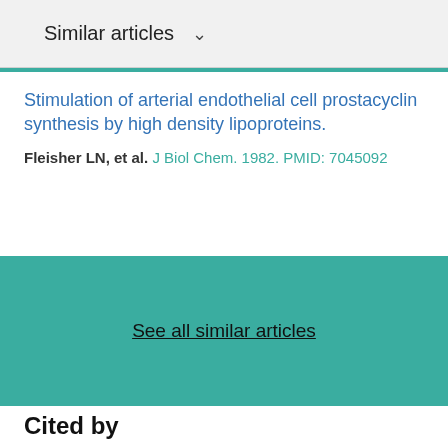Similar articles
Stimulation of arterial endothelial cell prostacyclin synthesis by high density lipoproteins.
Fleisher LN, et al. J Biol Chem. 1982. PMID: 7045092
See all similar articles
Cited by
Prostacyclin concentrations and transitional circulation in preterm infants requiring mechanical ventilation.
Kluckow M, et al. Arch Dis Child Fetal Neonatal Ed. 1999.
PMID: 10325809 Free PMC article.